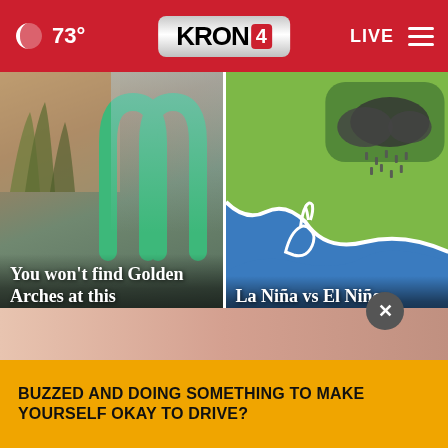73° KRON4 LIVE
[Figure (photo): McDonald's green arches on a building with trees in background, with text overlay: You won't find Golden Arches at this McDonald's]
[Figure (illustration): Weather map illustration showing La Niña vs El Niño climate patterns with text overlay: La Niña vs El Niño: What's the difference?]
Top Stories ›
[Figure (photo): Partial photo of person behind yellow ad banner]
BUZZED AND DOING SOMETHING TO MAKE YOURSELF OKAY TO DRIVE?